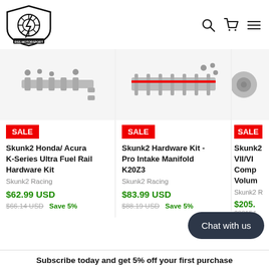[Figure (logo): RSS Motorsport shield logo with tire/wheel graphic in black and white]
[Figure (illustration): Search, cart, and hamburger menu icons in header]
[Figure (photo): Skunk2 Honda/Acura K-Series Ultra Fuel Rail Hardware Kit product image on grey background]
SALE
Skunk2 Honda/ Acura K-Series Ultra Fuel Rail Hardware Kit
Skunk2 Racing
$62.99 USD
$66.14 USD  Save 5%
[Figure (photo): Skunk2 Hardware Kit Pro Intake Manifold K20Z3 product image on grey background]
SALE
Skunk2 Hardware Kit - Pro Intake Manifold K20Z3
Skunk2 Racing
$83.99 USD
$88.19 USD  Save 5%
[Figure (photo): Partial third product card showing Skunk2 product image, SALE badge, partial title, partial price]
SALE
Skunk2 R... VII/VII... Comp... Volum...
Skunk2 R...
$205....
$22154...
Chat with us
Subscribe today and get 5% off your first purchase